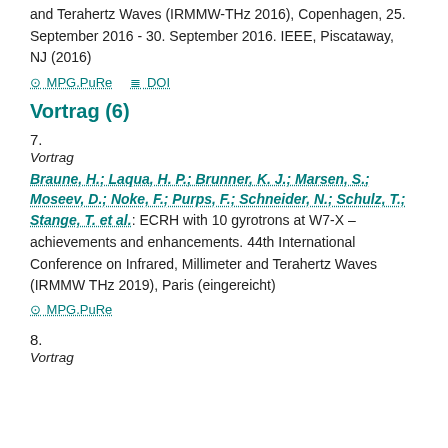and Terahertz Waves (IRMMW-THz 2016), Copenhagen, 25. September 2016 - 30. September 2016. IEEE, Piscataway, NJ (2016)
⊙ MPG.PuRe    ≣ DOI
Vortrag (6)
7.
Vortrag
Braune, H.; Laqua, H. P.; Brunner, K. J.; Marsen, S.; Moseev, D.; Noke, F.; Purps, F.; Schneider, N.; Schulz, T.; Stange, T. et al.: ECRH with 10 gyrotrons at W7-X – achievements and enhancements. 44th International Conference on Infrared, Millimeter and Terahertz Waves (IRMMW THz 2019), Paris (eingereicht)
⊙ MPG.PuRe
8.
Vortrag